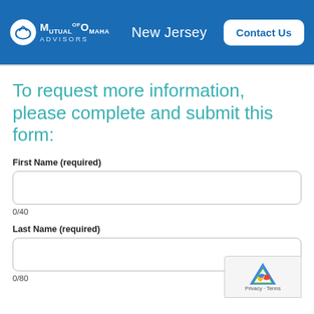Mutual of Omaha Advisors — New Jersey — Contact Us
To request more information, please complete and submit this form:
First Name (required)
0/40
Last Name (required)
0/80